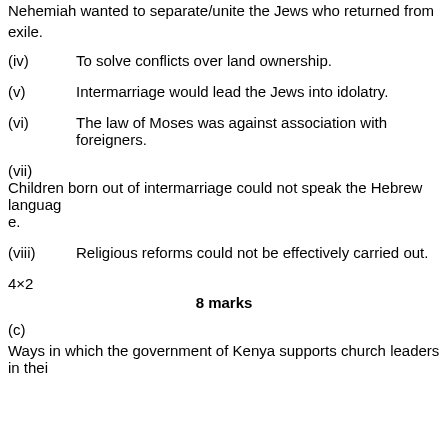Nehemiah wanted to separate/unite the Jews who returned from exile.
(iv)   To solve conflicts over land ownership.
(v)    Intermarriage would lead the Jews into idolatry.
(vi)   The law of Moses was against association with foreigners.
(vii)  Children born out of intermarriage could not speak the Hebrew language.
(viii) Religious reforms could not be effectively carried out.
4×2
8 marks
(c)
Ways in which the government of Kenya supports church leaders in their